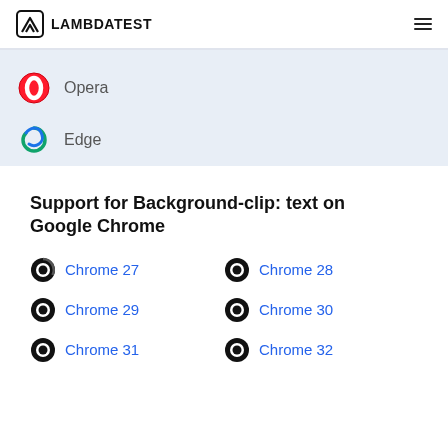LAMBDATEST
Opera
Edge
Support for Background-clip: text on Google Chrome
Chrome 27
Chrome 28
Chrome 29
Chrome 30
Chrome 31
Chrome 32